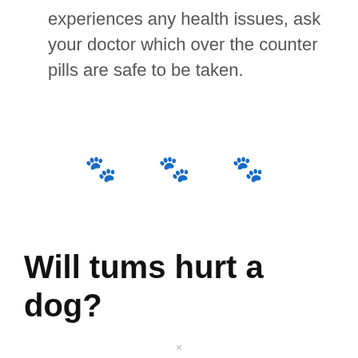experiences any health issues, ask your doctor which over the counter pills are safe to be taken.
[Figure (illustration): Three paw print emoji symbols used as a section divider]
Will tums hurt a dog?
×